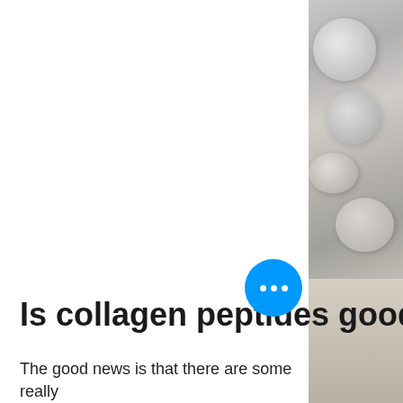[Figure (photo): Partial view of capsules or supplement pills in the upper right area of the page, with grey/beige tones]
Is collagen peptides good for weight loss
The good news is that there are some really